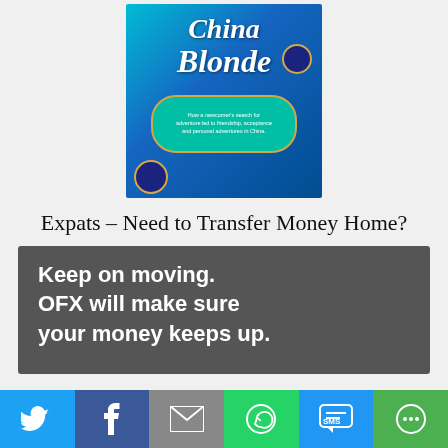[Figure (illustration): Book cover for 'China Blonde' showing decorative blue flowers and teal cloud design with subtitle text about a newcomer's search for adventure in China]
Expats – Need to Transfer Money Home?
[Figure (illustration): OFX advertisement banner with dark gray background and white text reading: Keep on moving. OFX will make sure your money keeps up.]
[Figure (infographic): Social sharing bar with icons for Twitter, Facebook, Email, WhatsApp, SMS, and More]